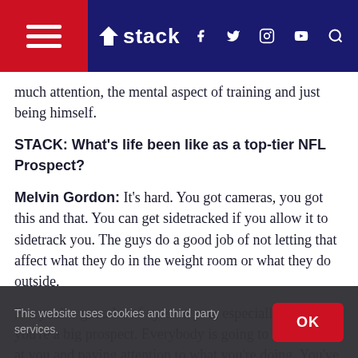stack
much attention, the mental aspect of training and just being himself.
STACK: What's life been like as a top-tier NFL Prospect?
Melvin Gordon: It's hard. You got cameras, you got this and that. You can get sidetracked if you allow it to sidetrack you. The guys do a good job of not letting that affect what they do in the weight room or what they do outside.
But you've got a lot of eyes on you, especially when you're a big prospect. Everybody is going to be looking at you and paying attention to what you're doing. You've got to be ready at every cost. Every time you step onto the field or
This website uses cookies and third party services.